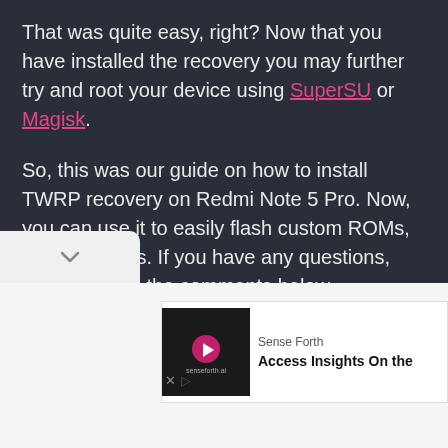That was quite easy, right? Now that you have installed the recovery you may further try and root your device using SuperSU or Magisk.
So, this was our guide on how to install TWRP recovery on Redmi Note 5 Pro. Now, you can use it to easily flash custom ROMs, kernels, mods. If you have any questions, leave them in the comments below.
Source
[Figure (screenshot): Bottom bar with down chevron icon and advertisement banner showing Sense Forth logo with text 'Access Insights On the']